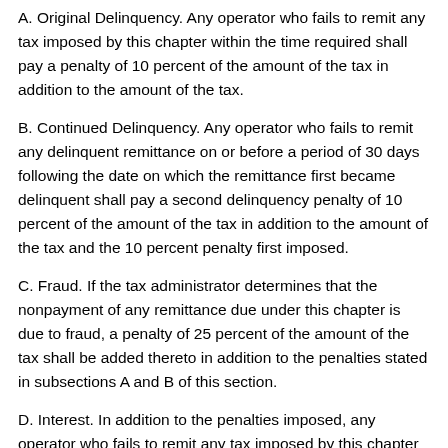A. Original Delinquency. Any operator who fails to remit any tax imposed by this chapter within the time required shall pay a penalty of 10 percent of the amount of the tax in addition to the amount of the tax.
B. Continued Delinquency. Any operator who fails to remit any delinquent remittance on or before a period of 30 days following the date on which the remittance first became delinquent shall pay a second delinquency penalty of 10 percent of the amount of the tax in addition to the amount of the tax and the 10 percent penalty first imposed.
C. Fraud. If the tax administrator determines that the nonpayment of any remittance due under this chapter is due to fraud, a penalty of 25 percent of the amount of the tax shall be added thereto in addition to the penalties stated in subsections A and B of this section.
D. Interest. In addition to the penalties imposed, any operator who fails to remit any tax imposed by this chapter shall pay interest at the rate of one-half of one percent per month or fraction thereof on the amount of